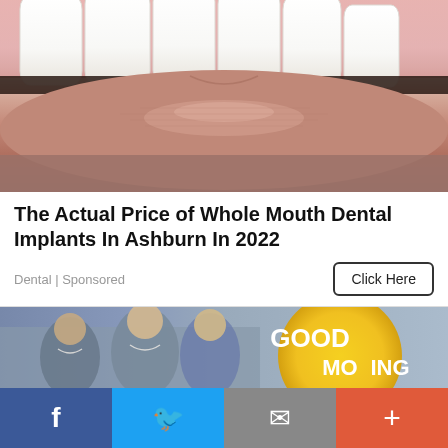[Figure (photo): Close-up photo of a person's open mouth showing white teeth and lips, illustrating dental implants]
The Actual Price of Whole Mouth Dental Implants In Ashburn In 2022
Dental | Sponsored
Click Here
[Figure (photo): Group of women smiling in front of a Good Morning America logo/sign]
Facebook  Twitter  Email  More